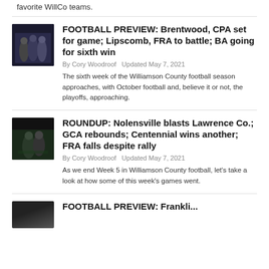favorite WillCo teams.
FOOTBALL PREVIEW: Brentwood, CPA set for game; Lipscomb, FRA to battle; BA going for sixth win
By Cory Woodroof  Updated May 7, 2021
The sixth week of the Williamson County football season approaches, with October football and, believe it or not, the playoffs, approaching.
ROUNDUP: Nolensville blasts Lawrence Co.; GCA rebounds; Centennial wins another; FRA falls despite rally
By Cory Woodroof  Updated May 7, 2021
As we end Week 5 in Williamson County football, let's take a look at how some of this week's games went.
FOOTBALL PREVIEW: Frankli...